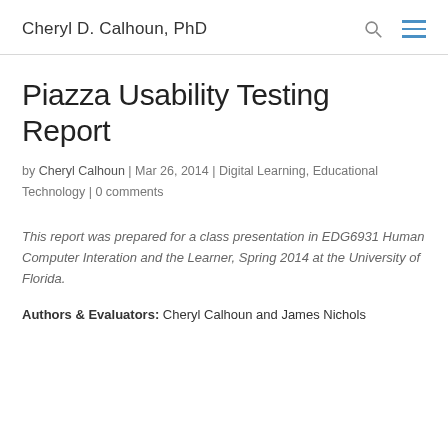Cheryl D. Calhoun, PhD
Piazza Usability Testing Report
by Cheryl Calhoun | Mar 26, 2014 | Digital Learning, Educational Technology | 0 comments
This report was prepared for a class presentation in EDG6931 Human Computer Interation and the Learner, Spring 2014 at the University of Florida.
Authors & Evaluators: Cheryl Calhoun and James Nichols